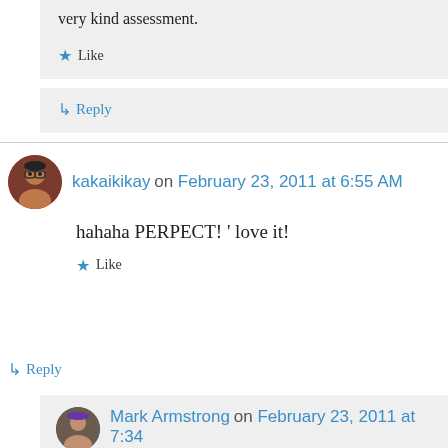very kind assessment.
★ Like
↳ Reply
kakaikikay on February 23, 2011 at 6:55 AM
hahaha PERPECT! ' love it!
★ Like
↳ Reply
Mark Armstrong on February 23, 2011 at 7:34 PM
Ah, it's always great to “hear” the sound of laughter– even in writing… : ) Thank you